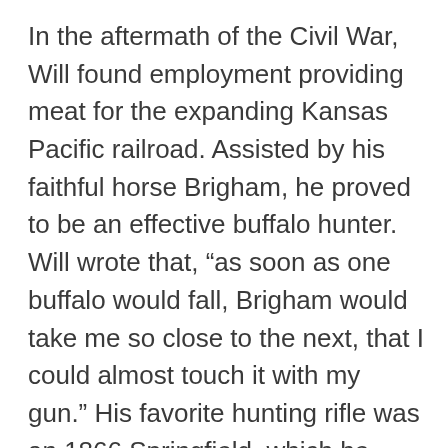In the aftermath of the Civil War, Will found employment providing meat for the expanding Kansas Pacific railroad. Assisted by his faithful horse Brigham, he proved to be an effective buffalo hunter. Will wrote that, “as soon as one buffalo would fall, Brigham would take me so close to the next, that I could almost touch it with my gun.” His favorite hunting rifle was an 1866 Springfield, which he nicknamed “Lucretia Borgia,” after the most famous member of the Machiavellian Borgia family, which gained power in Renaissance Italy by murdering its opponents. During one 17-month period Will killed 4,280 buffalo as a meat hunter, earning